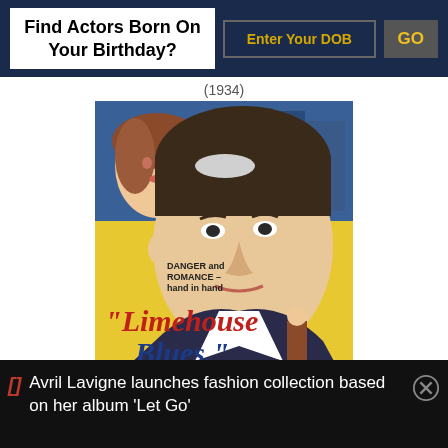Find Actors Born On Your Birthday?
Enter Your DOB
GO
(1934)
[Figure (illustration): Movie poster for 'Limehouse Blues' (1934) featuring George Raft. Yellow background with illustrated portrait of a man with slicked-back hair dominating the center. A woman's face appears in upper left. Text reads: DANGER and ROMANCE – hand in hand. 'Limehouse Blues' in large red and blue lettering. GEORGE RAFT at the bottom. A street lamp and figures in the background.]
Avril Lavigne launches fashion collection based on her album 'Let Go'